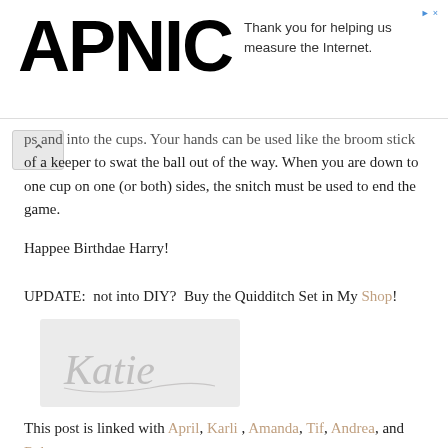APNIC — Thank you for helping us measure the Internet.
ps and into the cups.  Your hands can be used like the broom stick of a keeper to swat the ball out of the way.  When you are down to one cup on one (or both) sides, the snitch must be used to end the game.
Happee Birthdae Harry!
UPDATE:  not into DIY?  Buy the Quidditch Set in My Shop!
[Figure (illustration): Handwritten cursive signature reading 'Katie' on a light grey background]
This post is linked with April, Karli , Amanda, Tif, Andrea, and Rebecca.
[Figure (illustration): Partial handwritten cursive signature starting with 'Ka' in grey ink]